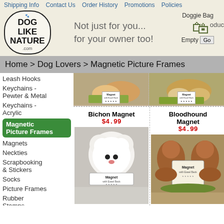Shipping Info  Contact Us  Order History  Promotions  Policies
[Figure (logo): Dog Like Nature .com logo in bone shape with paw print, tagline: Not just for you... for your owner too!, Doggie Bag shopping cart area]
Home > Dog Lovers > Magnetic Picture Frames
Leash Hooks
Keychains - Pewter & Metal
Keychains - Acrylic
Magnetic Picture Frames
Magnets
Neckties
Scrapbooking & Stickers
Socks
Picture Frames
Rubber Stamps
Scarves
[Figure (photo): Chihuahua magnetic picture frame product image with Magnet with Easel Back label]
[Figure (photo): Cocker Spaniel or similar breed magnetic picture frame product image with Magnet with Easel Back label]
Bichon Magnet
$4.99
[Figure (photo): Bichon Frise dog magnetic picture frame with Magnet with Easel Back label]
Bloodhound Magnet
$4.99
[Figure (photo): Bloodhound dog magnetic picture frame with Magnet with Easel Back label]